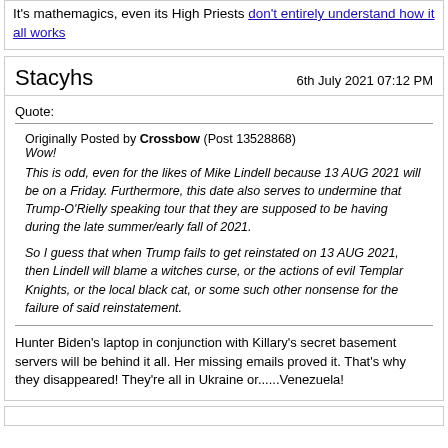It's mathemagics, even its High Priests don't entirely understand how it all works
Stacyhs
6th July 2021 07:12 PM
Quote:
Originally Posted by Crossbow (Post 13528868)
Wow!

This is odd, even for the likes of Mike Lindell because 13 AUG 2021 will be on a Friday. Furthermore, this date also serves to undermine that Trump-O'Rielly speaking tour that they are supposed to be having during the late summer/early fall of 2021.

So I guess that when Trump fails to get reinstated on 13 AUG 2021, then Lindell will blame a witches curse, or the actions of evil Templar Knights, or the local black cat, or some such other nonsense for the failure of said reinstatement.
Hunter Biden's laptop in conjunction with Killary's secret basement servers will be behind it all. Her missing emails proved it. That's why they disappeared! They're all in Ukraine or......Venezuela!